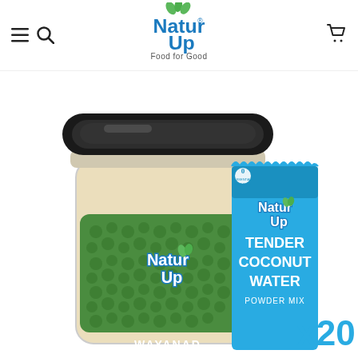NaturUp - Food for Good (website header with navigation icons and logo)
[Figure (photo): NaturUp product photo showing a glass jar with green jackfruit/wayanad label and a blue sachet packet of Tender Coconut Water Powder Mix x20, both branded with NaturUp logo]